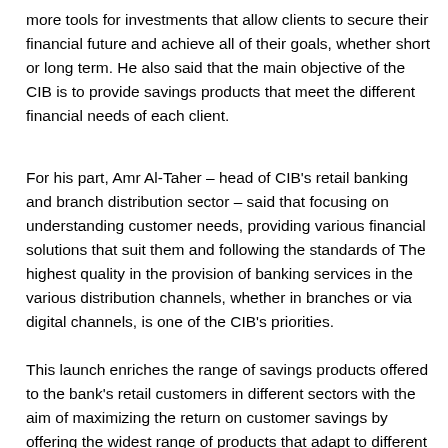more tools for investments that allow clients to secure their financial future and achieve all of their goals, whether short or long term. He also said that the main objective of the CIB is to provide savings products that meet the different financial needs of each client.
For his part, Amr Al-Taher – head of CIB's retail banking and branch distribution sector – said that focusing on understanding customer needs, providing various financial solutions that suit them and following the standards of The highest quality in the provision of banking services in the various distribution channels, whether in branches or via digital channels, is one of the CIB's priorities.
This launch enriches the range of savings products offered to the bank's retail customers in different sectors with the aim of maximizing the return on customer savings by offering the widest range of products that adapt to different needs. customer liquidity...